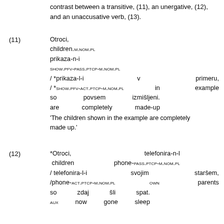contrast between a transitive, (11), an unergative, (12), and an unaccusative verb, (13).
(11) Otroci,
children.M.NOM.PL
prikaza-n-i
SHOW.PFV-PASS.PTCP-M.NOM.PL
/ *prikaza-l-i                    v    primeru,
/ *SHOW.PFV-ACT.PTCP-M.NOM.PL    in    example
so    povsem    izmišljeni.
are    completely    made-up
'The children shown in the example are completely made up.'
(12) *Otroci,    telefonira-n-l
 children    phone-PASS.PTCP-M.NOM.PL
/ telefonira-l-i                    svojim    staršem,
/phone-ACT.PTCP-M.NOM.PL    own    parents
so    zdaj    šli    spat.
AUX    now    gone    sleep